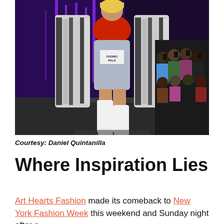[Figure (photo): A model walking a runway wearing a silver metallic swimsuit with a red top, a black and white fur coat, and white knee-high boots. Purple neon lights illuminate the background. Audience members are visible on the right side taking photos.]
Courtesy: Daniel Quintanilla
Where Inspiration Lies
Art Hearts Fashion made its comeback to New York Fashion Week this weekend and Sunday night after a